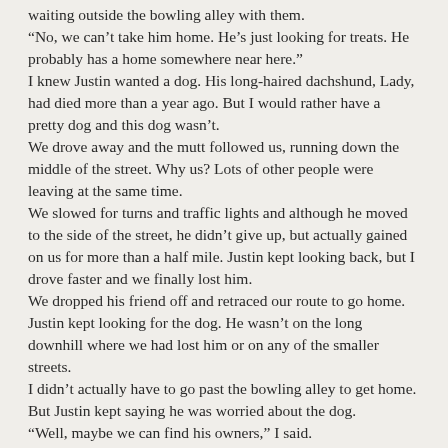waiting outside the bowling alley with them. “No, we can’t take him home. He’s just looking for treats. He probably has a home somewhere near here.” I knew Justin wanted a dog. His long-haired dachshund, Lady, had died more than a year ago. But I would rather have a pretty dog and this dog wasn’t. We drove away and the mutt followed us, running down the middle of the street. Why us? Lots of other people were leaving at the same time. We slowed for turns and traffic lights and although he moved to the side of the street, he didn’t give up, but actually gained on us for more than a half mile. Justin kept looking back, but I drove faster and we finally lost him. We dropped his friend off and retraced our route to go home. Justin kept looking for the dog. He wasn’t on the long downhill where we had lost him or on any of the smaller streets. I didn’t actually have to go past the bowling alley to get home. But Justin kept saying he was worried about the dog. “Well, maybe we can find his owners,” I said.